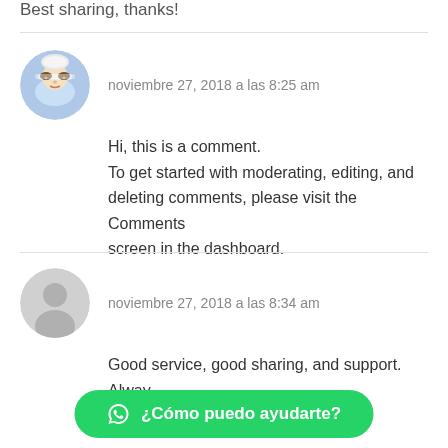Best sharing, thanks!
noviembre 27, 2018 a las 8:25 am
Hi, this is a comment.
To get started with moderating, editing, and deleting comments, please visit the Comments screen in the dashboard.
noviembre 27, 2018 a las 8:34 am
Good service, good sharing, and support. Alway
¿Cómo puedo ayudarte?